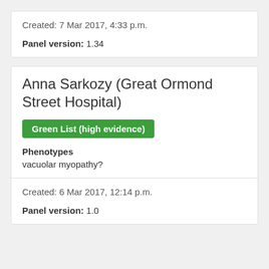Created: 7 Mar 2017, 4:33 p.m.
Panel version: 1.34
Anna Sarkozy (Great Ormond Street Hospital)
Green List (high evidence)
Phenotypes
vacuolar myopathy?
Created: 6 Mar 2017, 12:14 p.m.
Panel version: 1.0